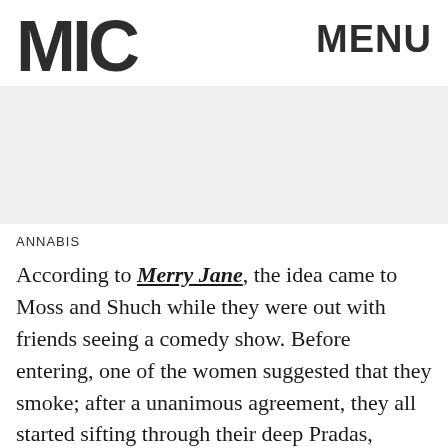MIC  MENU
[Figure (other): Gray advertisement/image placeholder banner]
ANNABIS
According to Merry Jane, the idea came to Moss and Shuch while they were out with friends seeing a comedy show. Before entering, one of the women suggested that they smoke; after a unanimous agreement, they all started sifting through their deep Pradas, Guccis and Chanels and thought, "There has to